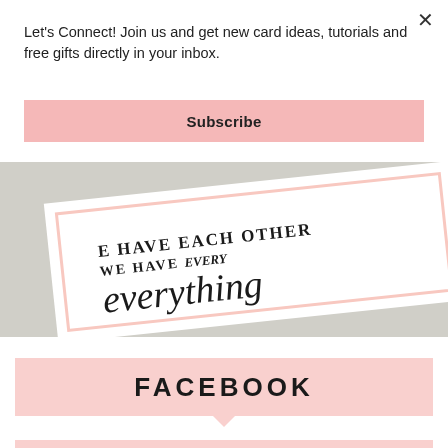×
Let's Connect! Join us and get new card ideas, tutorials and free gifts directly in your inbox.
Subscribe
[Figure (photo): Photo of a white greeting card with pink border showing the text 'WE HAVE EACH OTHER WE HAVE everything' in mixed serif and script lettering, placed on a sandy background]
FACEBOOK
INSTAGRAM